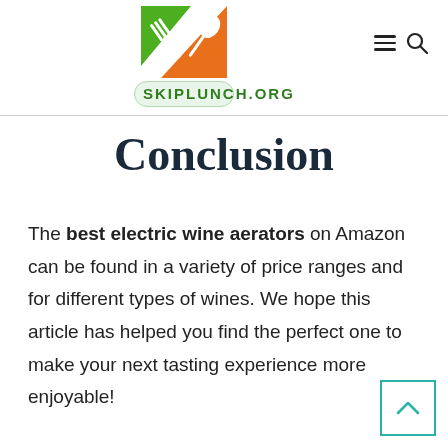SKIPLUNCH.ORG
Conclusion
The best electric wine aerators on Amazon can be found in a variety of price ranges and for different types of wines. We hope this article has helped you find the perfect one to make your next tasting experience more enjoyable!